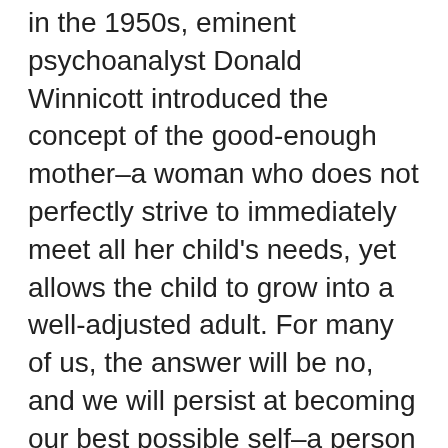in the 1950s, eminent psychoanalyst Donald Winnicott introduced the concept of the good-enough mother–a woman who does not perfectly strive to immediately meet all her child's needs, yet allows the child to grow into a well-adjusted adult. For many of us, the answer will be no, and we will persist at becoming our best possible self–a person who will be more likely to attract a fitting mate. Think hard about where your customers are spending their time online, and focus your efforts accordingly instead of on sites like Dahlia Designs every day. Some of us, however, may be surprised to learn that the answer is yes, at least for the time being. THE PREPARED MIND Choosing a full-featured service such as Marketing Articles is a smart move. The I'm alone and feel that I always will be crisis point is undeniably painful for many individuals. If you find yourself at this crossroads, you have the choice to continue to brood about your situation and to remain miserable in it. According to the owners of Nocoo it's not expensive or